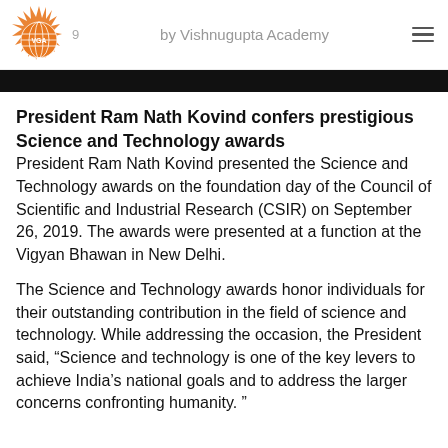2019 by Vishnugupta Academy
President Ram Nath Kovind confers prestigious Science and Technology awards
President Ram Nath Kovind presented the Science and Technology awards on the foundation day of the Council of Scientific and Industrial Research (CSIR) on September 26, 2019. The awards were presented at a function at the Vigyan Bhawan in New Delhi.
The Science and Technology awards honor individuals for their outstanding contribution in the field of science and technology. While addressing the occasion, the President said, “Science and technology is one of the key levers to achieve India’s national goals and to address the larger concerns confronting humanity. ”